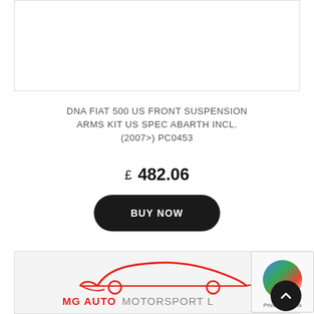[Figure (photo): Product image placeholder box (white rectangle with border)]
DNA FIAT 500 US FRONT SUSPENSION ARMS KIT US SPEC ABARTH INCL. (2007>) PC0453
£ 482.06
BUY NOW
[Figure (logo): MG Auto Motorsport logo with red car silhouette and brand name]